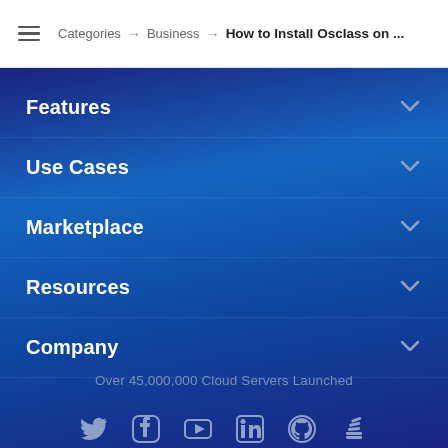Categories → Business → How to Install Osclass on ...
Features
Use Cases
Marketplace
Resources
Company
Over 45,000,000 Cloud Servers Launched
[Figure (infographic): Social media icons: Twitter, Facebook, YouTube, LinkedIn, GitHub, Stack Overflow]